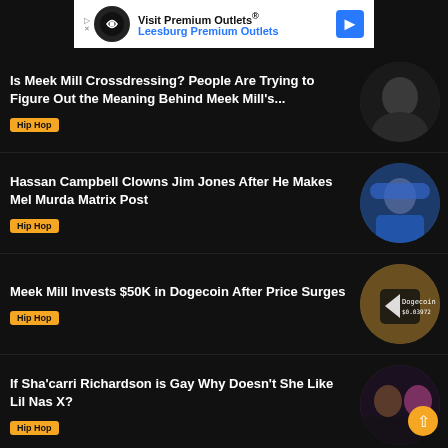[Figure (other): Advertisement banner: Visit Premium Outlets® / Leesburg Premium Outlets with logo and navigation arrow]
Is Meek Mill Crossdressing? People Are Trying to Figure Out the Meaning Behind Meek Mill's...
Hip Hop
Hassan Campbell Clowns Jim Jones After He Makes Mel Murda Matrix Post
Hip Hop
Meek Mill Invests $50K in Dogecoin After Price Surges
Hip Hop
If Sha'carri Richardson is Gay Why Doesn't She Like Lil Nas X?
Hip Hop
Is Young Thug Dead? 'RIP Young' Trend on Social